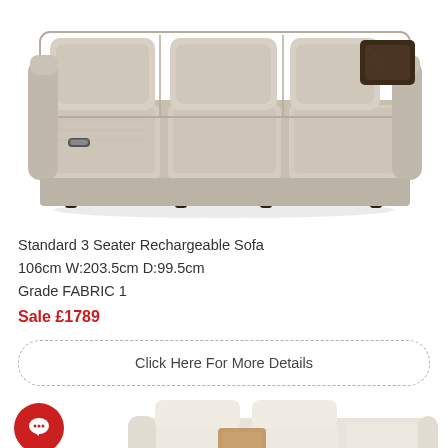[Figure (photo): A beige/taupe fabric 3-seater reclining sofa with a dark brown decorative pillow on the right armrest, shown on a white background. The sofa has a power recliner button visible on the left side.]
Standard 3 Seater Rechargeable Sofa
106cm W:203.5cm D:99.5cm
Grade FABRIC 1
Sale £1789
Click Here For More Details
[Figure (photo): A cream/ivory fabric 3-seater sofa with a tan decorative pillow, shown partially. A red circular chat/message icon is visible in the lower left corner of the image.]